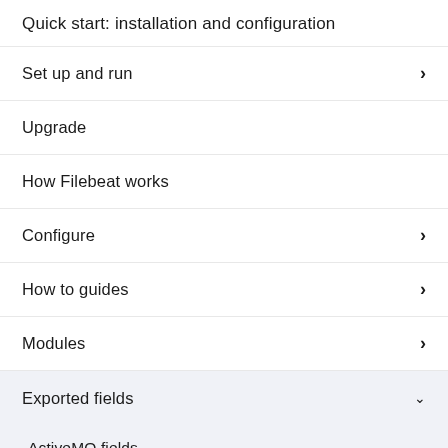Quick start: installation and configuration
Set up and run
Upgrade
How Filebeat works
Configure
How to guides
Modules
Exported fields
ActiveMQ fields
Apache fields
Auditd fields